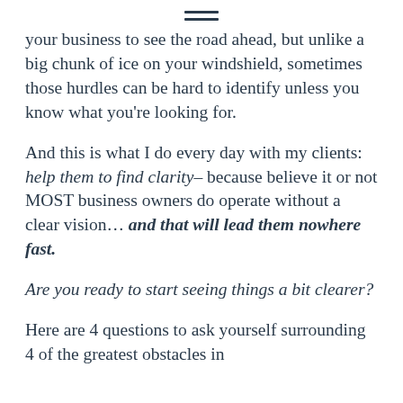≡
your business to see the road ahead, but unlike a big chunk of ice on your windshield, sometimes those hurdles can be hard to identify unless you know what you're looking for.
And this is what I do every day with my clients: help them to find clarity– because believe it or not MOST business owners do operate without a clear vision… and that will lead them nowhere fast.
Are you ready to start seeing things a bit clearer?
Here are 4 questions to ask yourself surrounding 4 of the greatest obstacles in